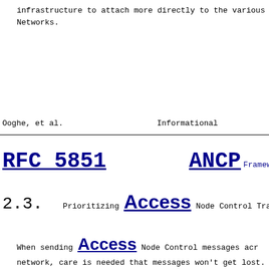infrastructure to attach more directly to the various Networks.
Ooghe, et al.                    Informational
RFC 5851                                   ANCP Framework
2.3.  Prioritizing Access Node Control Tra...
When sending Access Node Control messages acr... network, care is needed that messages won't get lost.